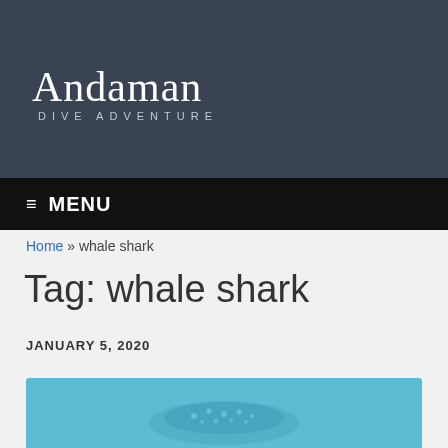Andaman DIVE ADVENTURE
≡ MENU
Home » whale shark
Tag: whale shark
JANUARY 5, 2020
[Figure (photo): Underwater photo of a whale shark swimming in blue water, partially visible at bottom of page]